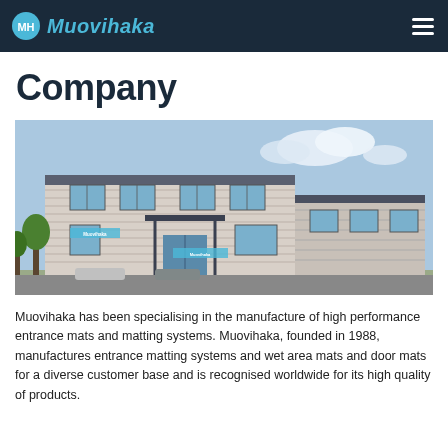MH Muovihaka
Company
[Figure (photo): Exterior photo of the Muovihaka company building, a modern industrial/office building with grey siding, multiple windows, an entrance canopy, and Muovihaka signage on the facade. Parked cars visible in the foreground.]
Muovihaka has been specialising in the manufacture of high performance entrance mats and matting systems. Muovihaka, founded in 1988, manufactures entrance matting systems and wet area mats and door mats for a diverse customer base and is recognised worldwide for its high quality of products.